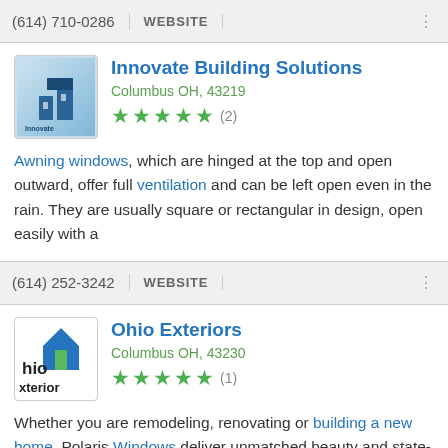(614) 710-0286  WEBSITE
[Figure (logo): Innovate Building Solutions logo — blue gradient background with building icon]
Innovate Building Solutions
Columbus OH, 43219
★★★★★ (2)
Awning windows, which are hinged at the top and open outward, offer full ventilation and can be left open even in the rain. They are usually square or rectangular in design, open easily with a
(614) 252-3242  WEBSITE
[Figure (logo): Ohio Exteriors logo — white background with blue house/arrow icon and Ohio Exterior text]
Ohio Exteriors
Columbus OH, 43230
★★★★★ (1)
Whether you are remodeling, renovating or building a new home, Polaris Windows deliver unmatched beauty and state-of-the-art performance for energy savings, reduced maintenance and a